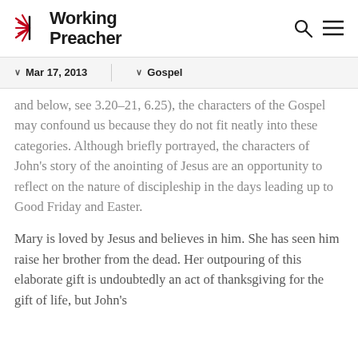[Figure (logo): Working Preacher logo with starburst icon and bold text]
Mar 17, 2013 | Gospel
and below, see 3.20–21, 6.25), the characters of the Gospel may confound us because they do not fit neatly into these categories. Although briefly portrayed, the characters of John's story of the anointing of Jesus are an opportunity to reflect on the nature of discipleship in the days leading up to Good Friday and Easter.
Mary is loved by Jesus and believes in him. She has seen him raise her brother from the dead. Her outpouring of this elaborate gift is undoubtedly an act of thanksgiving for the gift of life, but John's